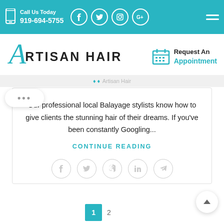Call Us Today 919-694-5755
[Figure (logo): Artisan Hair salon logo with stylized cursive A and bold sans-serif text RTISAN HAIR]
Request An Appointment
Artisan Hair
Our professional local Balayage stylists know how to give clients the stunning hair of their dreams. If you've been constantly Googling...
CONTINUE READING
1  2